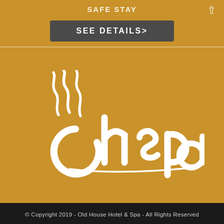SAFE STAY
SEE DETAILS>
[Figure (logo): Oh Spa logo — white stylized text 'ohspa' with steam wisp curls above the 'o' and a swooping underline, on a golden-amber background]
© Copyright 2019 - Old House Hotel & Spa - All Rights Reserved